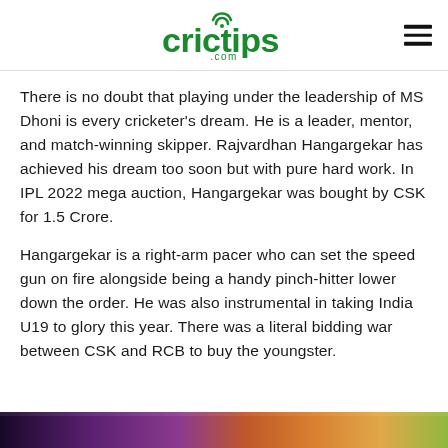crictips.com
There is no doubt that playing under the leadership of MS Dhoni is every cricketer's dream. He is a leader, mentor, and match-winning skipper. Rajvardhan Hangargekar has achieved his dream too soon but with pure hard work. In IPL 2022 mega auction, Hangargekar was bought by CSK for 1.5 Crore.
Hangargekar is a right-arm pacer who can set the speed gun on fire alongside being a handy pinch-hitter lower down the order. He was also instrumental in taking India U19 to glory this year. There was a literal bidding war between CSK and RCB to buy the youngster.
[Figure (photo): Partial bottom image strip showing a colorful/blurred photograph, partially visible at bottom of page]